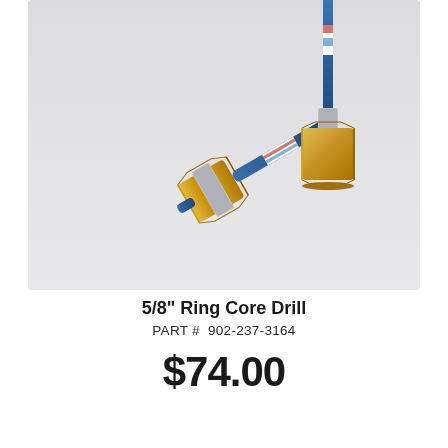[Figure (photo): Two 5/8 inch Ring Core Drill bits with brass hexagonal fittings and blue shaft with white label markings. One drill is shown lying diagonally, the other is shown upright with the shaft extending upward.]
5/8" Ring Core Drill
PART #  902-237-3164
$74.00